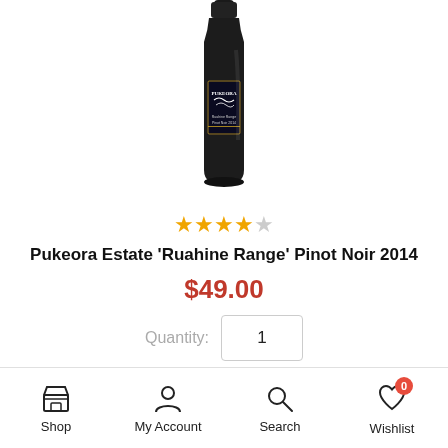[Figure (photo): A dark wine bottle with Pukeora Estate label showing 'Ruahine Range Pinot Noir 2014']
[Figure (other): 4-star rating (4 filled orange stars, 1 empty star)]
Pukeora Estate ‘Ruahine Range’ Pinot Noir 2014
$49.00
Quantity: 1
Add to cart
Shop   My Account   Search   Wishlist